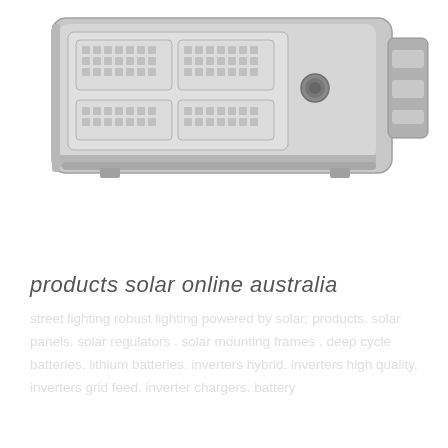[Figure (photo): Solar street light unit shown from above/side angle — a flat rectangular aluminum panel with integrated LED modules (4 LED arrays visible) and a round sensor/button on the surface, with a mounting bracket visible on the right side. The device has a silver/grey metallic finish.]
products solar online australia
street lighting robust lighting powered by solar; products. solar panels. solar regulators . solar mounting frames . deep cycle batteries. lithium batteries. inverters hybrid. inverters high quality. inverters grid feed. inverter chargers. battery